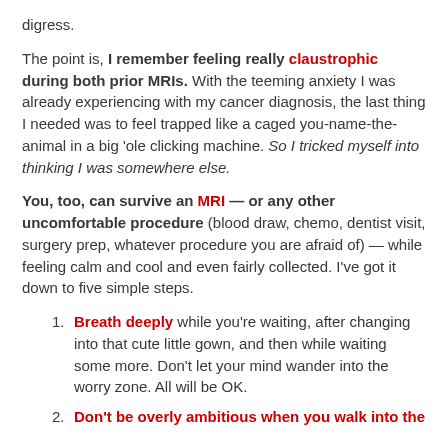digress.
The point is, I remember feeling really claustrophic during both prior MRIs. With the teeming anxiety I was already experiencing with my cancer diagnosis, the last thing I needed was to feel trapped like a caged you-name-the-animal in a big 'ole clicking machine. So I tricked myself into thinking I was somewhere else.
You, too, can survive an MRI — or any other uncomfortable procedure (blood draw, chemo, dentist visit, surgery prep, whatever procedure you are afraid of) — while feeling calm and cool and even fairly collected. I've got it down to five simple steps.
Breath deeply while you're waiting, after changing into that cute little gown, and then while waiting some more. Don't let your mind wander into the worry zone. All will be OK.
Don't be overly ambitious when you walk into the